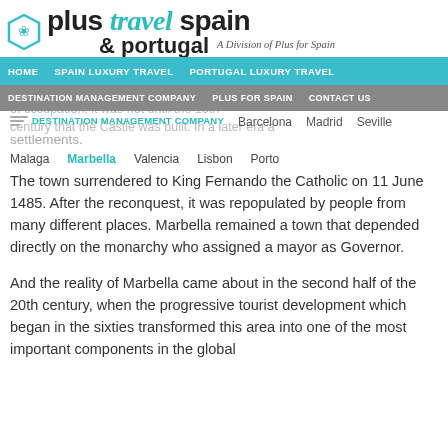[Figure (logo): Plus Travel Spain & Portugal logo with teal hexagon icon and italic teal 'travel' text, plus 'A Division of Plus for Spain' tagline]
HOME | SPAIN LUXURY TRAVEL | PORTUGAL LUXURY TRAVEL | DESTINATION MANAGEMENT COMPANY | PLUS FOR SPAIN | CONTACT US
Under the Muslim domination the configuration of the town during the first two hundred years of occupation, it was not until the 10th century that the Castle was built. In a later era a
DESTINATION MANAGEMENT COMPANY: Barcelona Madrid Seville
settlements.
Malaga Marbella Valencia Lisbon Porto
The town surrendered to King Fernando the Catholic on 11 June 1485. After the reconquest, it was repopulated by people from many different places. Marbella remained a town that depended directly on the monarchy who assigned a mayor as Governor.
And the reality of Marbella came about in the second half of the 20th century, when the progressive tourist development which began in the sixties transformed this area into one of the most important components in the global